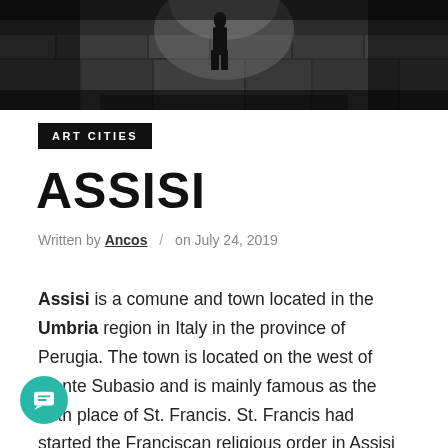[Figure (photo): Black and white photo of a stone alleyway or street in Assisi with a figure silhouetted in the background under an arch]
ART CITIES
ASSISI
Written by Ancos / on July 24, 2019
Assisi is a comune and town located in the Umbria region in Italy in the province of Perugia. The town is located on the west of Monte Subasio and is mainly famous as the birth place of St. Francis. St. Francis had started the Franciscan religious order in Assisi in 1208. St. Clare was also born in the town.